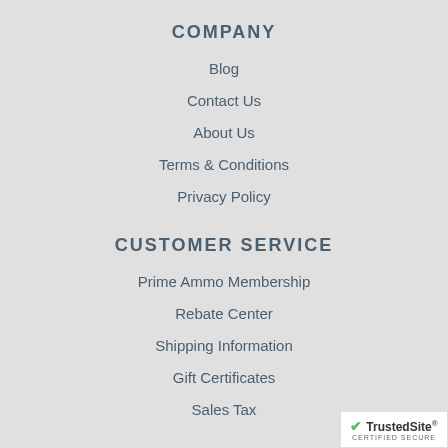COMPANY
Blog
Contact Us
About Us
Terms & Conditions
Privacy Policy
CUSTOMER SERVICE
Prime Ammo Membership
Rebate Center
Shipping Information
Gift Certificates
Sales Tax
FIREARMS
How to purchase a gun online
[Figure (logo): TrustedSite Certified Secure badge]